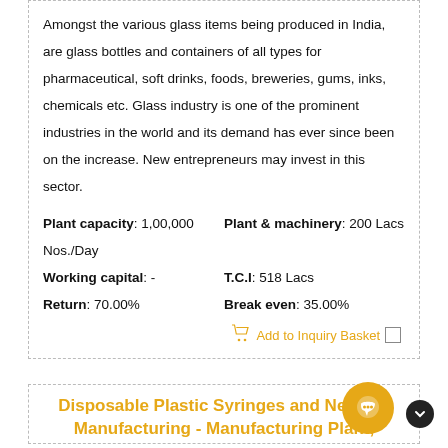Amongst the various glass items being produced in India, are glass bottles and containers of all types for pharmaceutical, soft drinks, foods, breweries, gums, inks, chemicals etc. Glass industry is one of the prominent industries in the world and its demand has ever since been on the increase. New entrepreneurs may invest in this sector.
Plant capacity: 1,00,000 Nos./Day    Plant & machinery: 200 Lacs
Working capital: -    T.C.I: 518 Lacs
Return: 70.00%    Break even: 35.00%
Add to Inquiry Basket
Disposable Plastic Syringes and Needles Manufacturing - Manufacturing Plant,